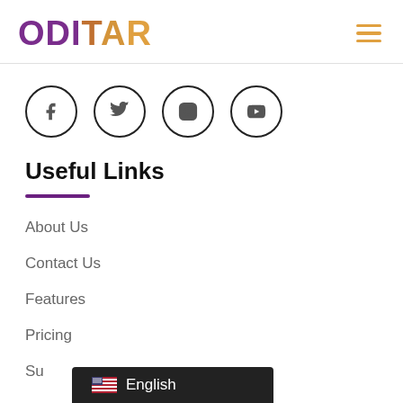ODITAR
[Figure (illustration): Four social media icons in circles: Facebook (f), Twitter (bird), Instagram (camera/square), YouTube (play button)]
Useful Links
About Us
Contact Us
Features
Pricing
Su
English